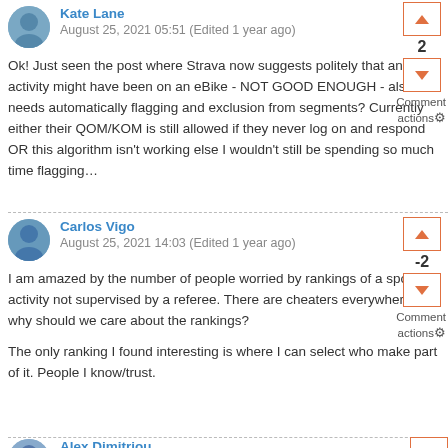Kate Lane
August 25, 2021 05:51 (Edited 1 year ago)
Ok! Just seen the post where Strava now suggests politely that an activity might have been on an eBike - NOT GOOD ENOUGH - also needs automatically flagging and exclusion from segments? Currently either their QOM/KOM is still allowed if they never log on and respond OR this algorithm isn't working else I wouldn't still be spending so much time flagging…
Carlos Vigo
August 25, 2021 14:03 (Edited 1 year ago)
I am amazed by the number of people worried by rankings of a sport activity not supervised by a referee. There are cheaters everywhere... why should we care about the rankings?
The only ranking I found interesting is where I can select who make part of it. People I know/trust.
Alex Dimitriou